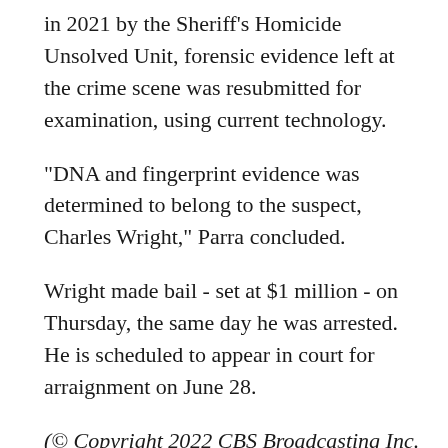in 2021 by the Sheriff's Homicide Unsolved Unit, forensic evidence left at the crime scene was resubmitted for examination, using current technology.
"DNA and fingerprint evidence was determined to belong to the suspect, Charles Wright," Parra concluded.
Wright made bail - set at $1 million - on Thursday, the same day he was arrested. He is scheduled to appear in court for arraignment on June 28.
(© Copyright 2022 CBS Broadcasting Inc. All Rights Reserved. City News Service contributed to this report.)